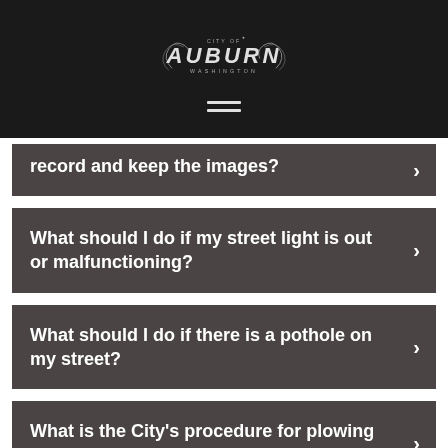[Figure (logo): City of Auburn Washington logo with stylized text and decorative flourishes on dark background with hamburger menu icon below]
record and keep the images?
What should I do if my street light is out or malfunctioning?
What should I do if there is a pothole on my street?
What is the City's procedure for plowing streets during and after a snowstorm?